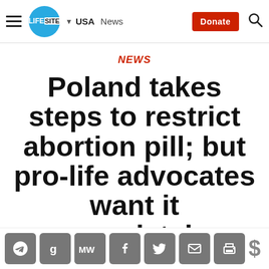LifeSite — USA  News  [Donate] [Search]
NEWS
Poland takes steps to restrict abortion pill; but pro-life advocates want it completely banned